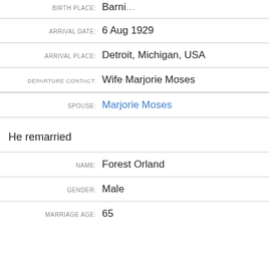ARRIVAL DATE: 6 Aug 1929
ARRIVAL PLACE: Detroit, Michigan, USA
DEPARTURE CONTACT: Wife Marjorie Moses
SPOUSE: Marjorie Moses
He remarried
NAME: Forest Orland
GENDER: Male
MARRIAGE AGE: 65